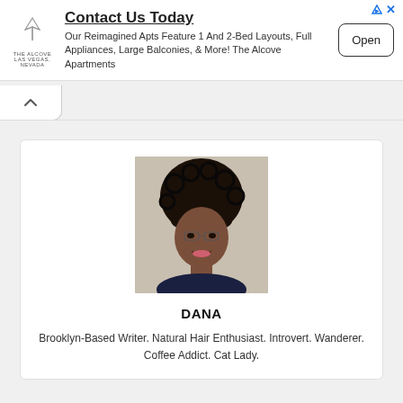[Figure (infographic): Advertisement banner for The Alcove Apartments with logo, headline 'Contact Us Today', body text about reimagined apartments with 1 and 2-Bed layouts, full appliances, large balconies, and an 'Open' button.]
[Figure (photo): Profile photo of Dana, a Black woman with natural curly hair pulled up, smiling, wearing a dark top.]
DANA
Brooklyn-Based Writer. Natural Hair Enthusiast. Introvert. Wanderer. Coffee Addict. Cat Lady.